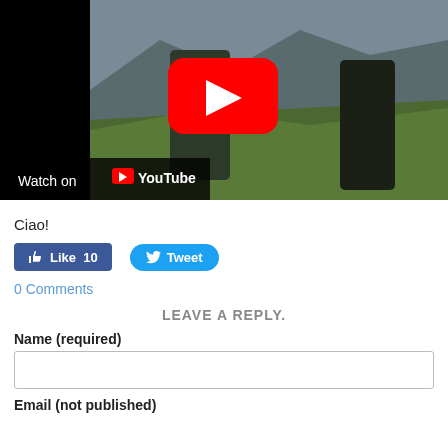[Figure (screenshot): YouTube video thumbnail showing two people running through a Scottish highland landscape. A YouTube play button (red rounded rectangle with white triangle) is shown in the center. Bottom left shows 'Watch on YouTube' with YouTube logo.]
Ciao!
[Figure (screenshot): Facebook Like button showing 'Like 10' and Twitter Tweet button]
0 Comments
LEAVE A REPLY.
Name (required)
Email (not published)